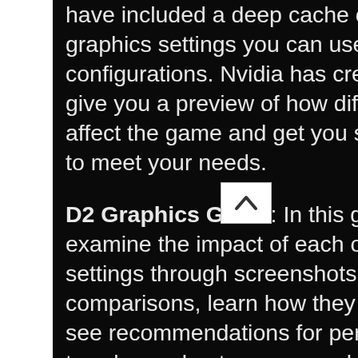have included a deep cache of information on graphics settings you can use to optimize your configurations. Nvidia has created a nice guide to give you a preview of how different settings will affect the game and get you started setting it up to meet your needs.
D2 Graphics Guide: In this guide you can examine the impact of each of these graphics settings through screenshots and interactive comparisons, learn how they affect performance, see recommendations for performance-improving tweaks, and get recommendations for GPUs capable of producing the highest-quality experiences in Destiny 2 on